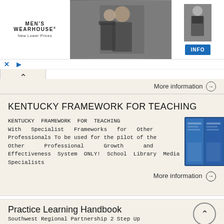[Figure (photo): Men's Wearhouse advertisement banner showing a couple in formal wear and a man in a suit, with a blue INFO button]
More information →
KENTUCKY FRAMEWORK FOR TEACHING
KENTUCKY FRAMEWORK FOR TEACHING With Specialist Frameworks for Other Professionals To be used for the pilot of the Other Professional Growth and Effectiveness System ONLY! School Library Media Specialists
[Figure (photo): Blue book cover for Kentucky Framework for Teaching]
More information →
Practice Learning Handbook
Southwest Regional Partnership 2 Step Up